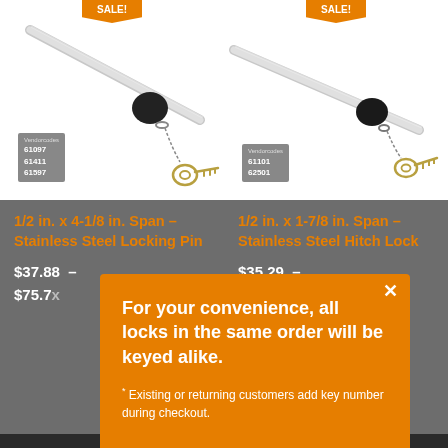[Figure (photo): Product image of 1/2 in. x 4-1/8 in. Span Stainless Steel Locking Pin with sale badge and vendor codes 61097, 61411, 61597]
[Figure (photo): Product image of 1/2 in. x 1-7/8 in. Span Stainless Steel Hitch Lock with sale badge and vendor codes 61101, 62501]
1/2 in. x 4-1/8 in. Span – Stainless Steel Locking Pin
$37.88 – $75.7x
1/2 in. x 1-7/8 in. Span – Stainless Steel Hitch Lock
$35.29 –
For your convenience, all locks in the same order will be keyed alike.
* Existing or returning customers add key number during checkout.